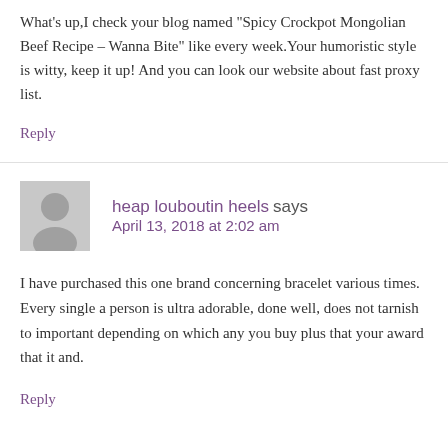What's up,I check your blog named "Spicy Crockpot Mongolian Beef Recipe – Wanna Bite" like every week.Your humoristic style is witty, keep it up! And you can look our website about fast proxy list.
Reply
heap louboutin heels says
April 13, 2018 at 2:02 am
I have purchased this one brand concerning bracelet various times. Every single a person is ultra adorable, done well, does not tarnish to important depending on which any you buy plus that your award that it and.
Reply